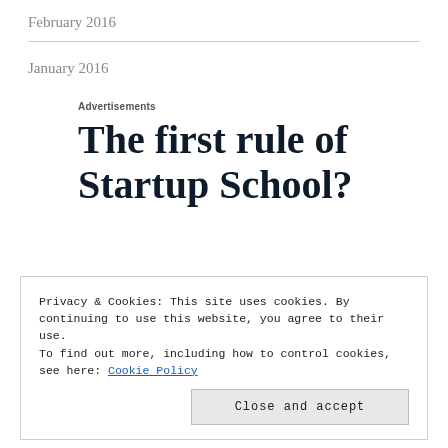February 2016
January 2016
Advertisements
The first rule of Startup School?
Privacy & Cookies: This site uses cookies. By continuing to use this website, you agree to their use.
To find out more, including how to control cookies, see here: Cookie Policy
Close and accept